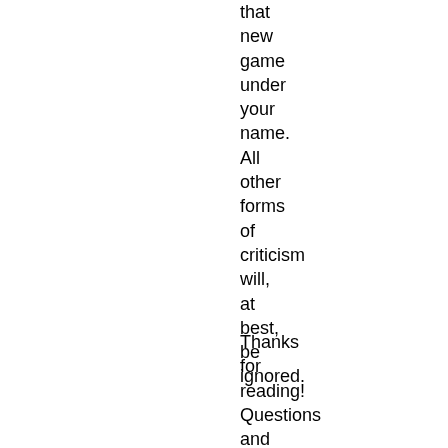that new game under your name. All other forms of criticism will, at best, be ignored.
Thanks for reading! Questions and observations welcome, but remember, if you